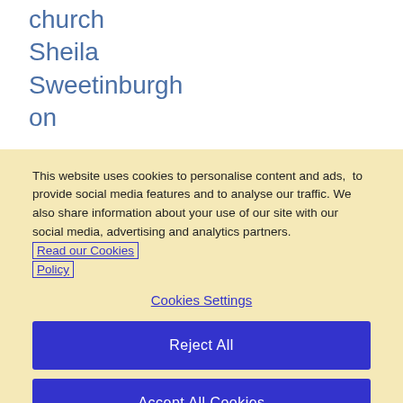church
Sheila
Sweetinburgh
on
This website uses cookies to personalise content and ads, to provide social media features and to analyse our traffic. We also share information about your use of our site with our social media, advertising and analytics partners. Read our Cookies Policy
Cookies Settings
Reject All
Accept All Cookies